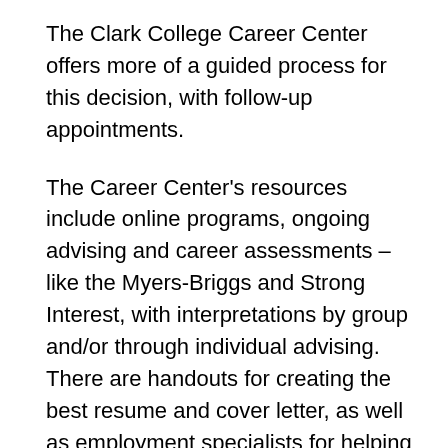The Clark College Career Center offers more of a guided process for this decision, with follow-up appointments.
The Career Center's resources include online programs, ongoing advising and career assessments – like the Myers-Briggs and Strong Interest, with interpretations by group and/or through individual advising. There are handouts for creating the best resume and cover letter, as well as employment specialists for helping with the application process and with interviewing – practice, feedback and coaching to help applicants feel more confident and competent.
Inside the Career Center, there is the Info Desk staff, a library of reference books, handouts and the Computer Lab with WOIS (Washington Career Info System) as well as Oregon's system, CIS, since Vancouver is a border city, the tools are